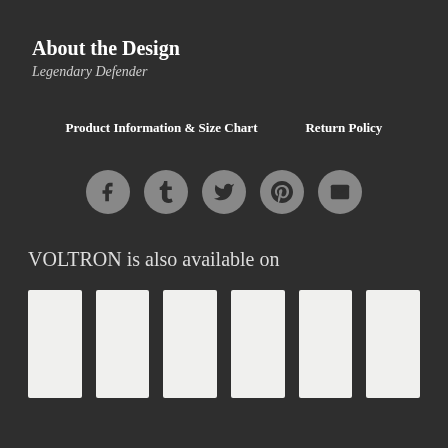About the Design
Legendary Defender
Product Information & Size Chart
Return Policy
[Figure (infographic): Row of five social media share icons (Facebook, Tumblr, Twitter, Pinterest, Email) as circular grey buttons on dark background]
VOLTRON is also available on
[Figure (other): Six white product thumbnail image placeholders arranged in a row]